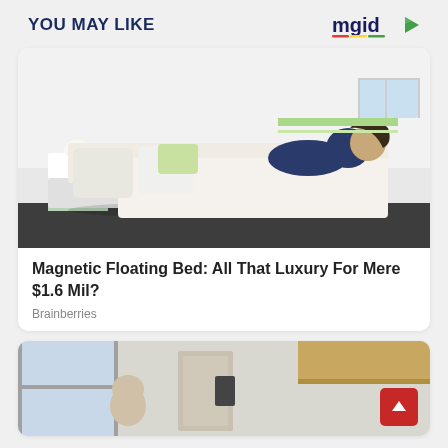YOU MAY LIKE
[Figure (logo): MGID logo with colorful underline and play button icon]
[Figure (photo): Photo of a woman lying on a white magnetic floating bed in a modern bedroom]
Magnetic Floating Bed: All That Luxury For Mere $1.6 Mil?
Brainberries
[Figure (photo): Photo of a small apartment interior with a person visible]